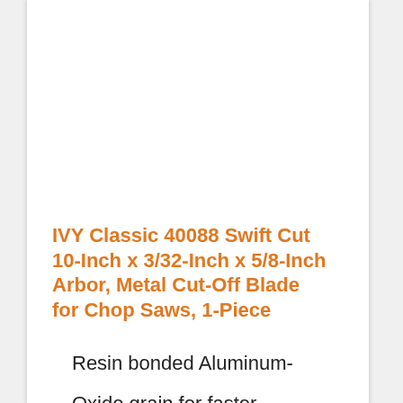IVY Classic 40088 Swift Cut 10-Inch x 3/32-Inch x 5/8-Inch Arbor, Metal Cut-Off Blade for Chop Saws, 1-Piece
Resin bonded Aluminum-Oxide grain for faster...